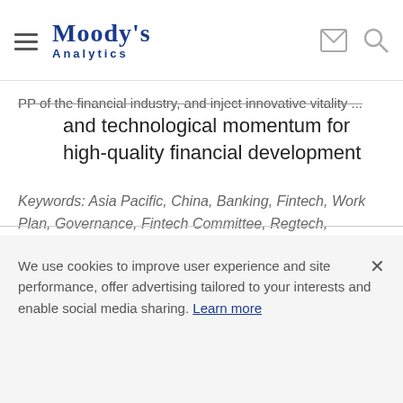Moody's Analytics
PP of the financial industry, and inject innovative vitality and technological momentum for high-quality financial development
Keywords: Asia Pacific, China, Banking, Fintech, Work Plan, Governance, Fintech Committee, Regtech, Blockchain, PBC
We use cookies to improve user experience and site performance, offer advertising tailored to your interests and enable social media sharing. Learn more